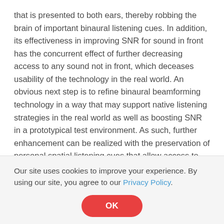that is presented to both ears, thereby robbing the brain of important binaural listening cues. In addition, its effectiveness in improving SNR for sound in front has the concurrent effect of further decreasing access to any sound not in front, which deceases usability of the technology in the real world. An obvious next step is to refine binaural beamforming technology in a way that may support native listening strategies in the real world as well as boosting SNR in a prototypical test environment. As such, further enhancement can be realized with the preservation of personal spatial listening cues that allow access to the acoustic scene in the vertical plane and beyond the look direction and horizontal
Our site uses cookies to improve your experience. By using our site, you agree to our Privacy Policy.